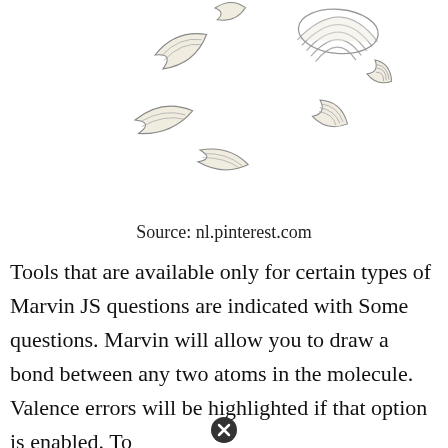[Figure (illustration): Decorative illustration of scattered crescent/banana-shaped and layered curved shell-like shapes in cream/off-white with fine line details, arranged loosely across the top portion of the page.]
Source: nl.pinterest.com
Tools that are available only for certain types of Marvin JS questions are indicated with Some questions. Marvin will allow you to draw a bond between any two atoms in the molecule. Valence errors will be highlighted if that option is enabled. To